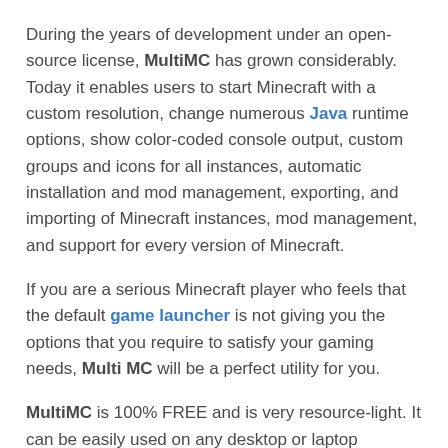During the years of development under an open-source license, MultiMC has grown considerably. Today it enables users to start Minecraft with a custom resolution, change numerous Java runtime options, show color-coded console output, custom groups and icons for all instances, automatic installation and mod management, exporting, and importing of Minecraft instances, mod management, and support for every version of Minecraft.
If you are a serious Minecraft player who feels that the default game launcher is not giving you the options that you require to satisfy your gaming needs, Multi MC will be a perfect utility for you.
MultiMC is 100% FREE and is very resource-light. It can be easily used on any desktop or laptop Windows PC that can run Minecraft.